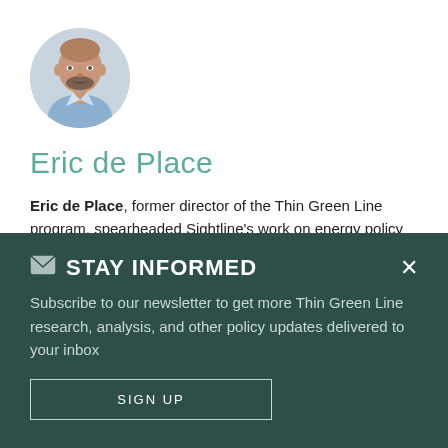[Figure (photo): Circular profile photo of Eric de Place, a man with a shaved head and short beard, wearing a light blue collared shirt.]
Eric de Place
Eric de Place, former director of the Thin Green Line program, spearheaded Sightline's work on energy policy for two decades. Known as a leading expert on coal, oil, and gas export plans in the Pacific Northwest, he is considered an authority on a range of issues connected to fossil fuel
STAY INFORMED
Subscribe to our newsletter to get more Thin Green Line research, analysis, and other policy updates delivered to your inbox
SIGN UP